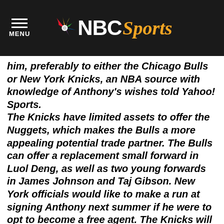NBC Sports
him, preferably to either the Chicago Bulls or New York Knicks, an NBA source with knowledge of Anthony's wishes told Yahoo! Sports. The Knicks have limited assets to offer the Nuggets, which makes the Bulls a more appealing potential trade partner. The Bulls can offer a replacement small forward in Luol Deng, as well as two young forwards in James Johnson and Taj Gibson. New York officials would like to make a run at signing Anthony next summer if he were to opt to become a free agent. The Knicks will have salary-cap room with Eddy Curry's contract expiring